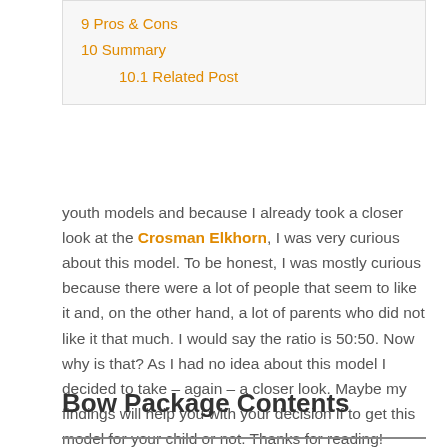9 Pros & Cons
10 Summary
10.1 Related Post
youth models and because I already took a closer look at the Crosman Elkhorn, I was very curious about this model. To be honest, I was mostly curious because there were a lot of people that seem to like it and, on the other hand, a lot of parents who did not like it that much. I would say the ratio is 50:50. Now why is that? As I had no idea about this model I decided to take – again – a closer look. Maybe my findings will help you with your decision if to get this model for your child or not. Thanks for reading!
Bow Package Contents